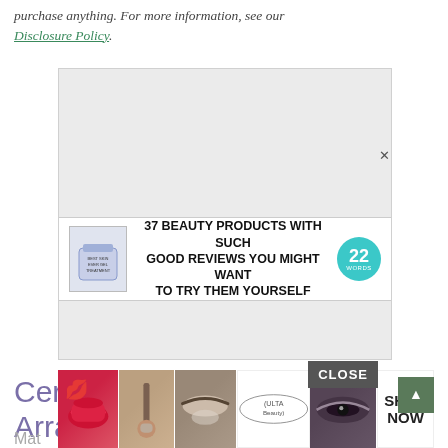purchase anything. For more information, see our Disclosure Policy.
[Figure (screenshot): Advertisement banner within a gray placeholder box. The banner shows a beauty product jar on the left, bold text reading '37 BEAUTY PRODUCTS WITH SUCH GOOD REVIEWS YOU MIGHT WANT TO TRY THEM YOURSELF' in the center, and a teal circle with '22 WORDS' on the right. An X close button appears at the top right of the banner.]
Ceramic Easter Bunny Floral Arrangement
Mat
[Figure (screenshot): Bottom overlay advertisement showing beauty/makeup imagery (lips, brush, eyebrows, eyes with smoky makeup), an ULTA Beauty logo, and a 'SHOP NOW' button. A CLOSE button appears above on the right.]